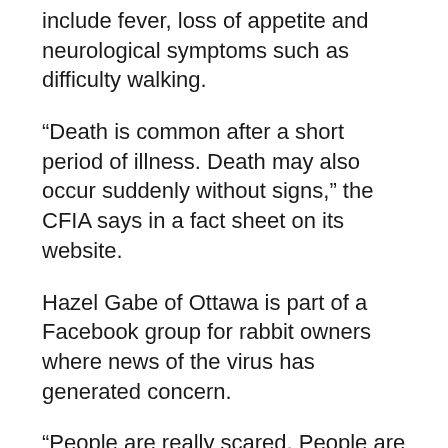include fever, loss of appetite and neurological symptoms such as difficulty walking.
“Death is common after a short period of illness. Death may also occur suddenly without signs,” the CFIA says in a fact sheet on its website.
Hazel Gabe of Ottawa is part of a Facebook group for rabbit owners where news of the virus has generated concern.
“People are really scared. People are very scared and nervous,” she said.
But for some, there’s a bit of relief, she said.
“Now that there’s been some cases in Ontario, even though we hate that some rabbits died and somebody probably lost their pet, but this means that maybe we will finally have access to the